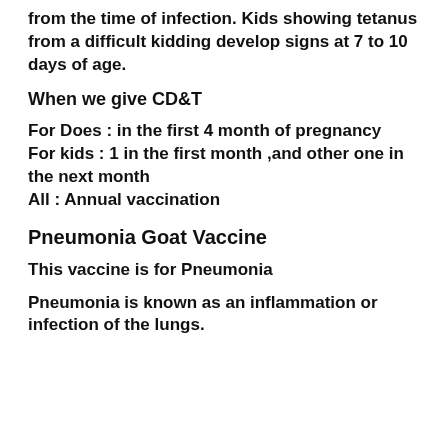from the time of infection. Kids showing tetanus from a difficult kidding develop signs at 7 to 10 days of age.
When we give CD&T
For Does : in the first 4 month of pregnancy
For kids : 1 in the first month ,and other one in the next month
All : Annual vaccination
Pneumonia Goat Vaccine
This vaccine is for Pneumonia
Pneumonia is known as an inflammation or infection of the lungs.